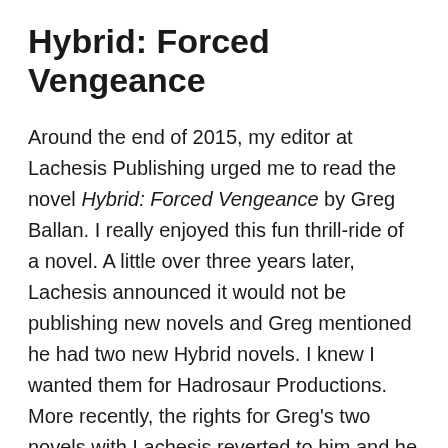Hybrid: Forced Vengeance
Around the end of 2015, my editor at Lachesis Publishing urged me to read the novel Hybrid: Forced Vengeance by Greg Ballan. I really enjoyed this fun thrill-ride of a novel. A little over three years later, Lachesis announced it would not be publishing new novels and Greg mentioned he had two new Hybrid novels. I knew I wanted them for Hadrosaur Productions. More recently, the rights for Greg's two novels with Lachesis reverted to him and he asked if I would be interested. There was no question I wanted the complete set of adventures featuring Erik Knight. I published Hybrid back in June. Today, I'm proud to announce I've come full circle with the sequel and the Hadrosaur Productions edition of Hybrid: Forced Vengeance is now available.